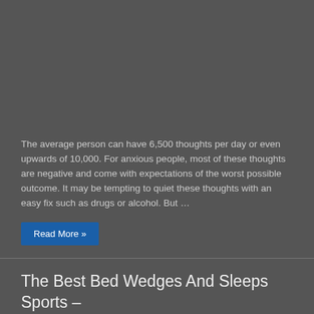[Figure (photo): Dark gray image area at top of page]
The average person can have 6,500 thoughts per day or even upwards of 10,000. For anxious people, most of these thoughts are negative and come with expectations of the worst possible outcome. It may be tempting to quiet these thoughts with an easy fix such as drugs or alcohol. But …
Read More »
The Best Bed Wedges And Sleeps Sports – Know the Benefits